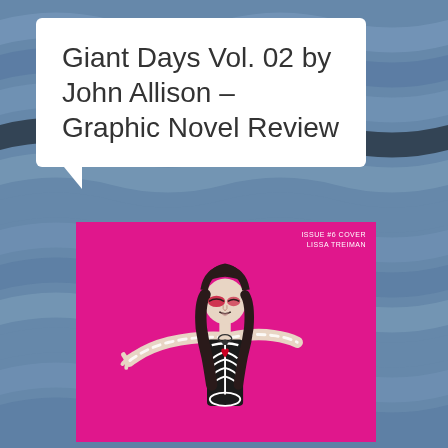[Figure (illustration): Ocean wave texture background in blue-grey tones covering the full page]
Giant Days Vol. 02 by John Allison – Graphic Novel Review
[Figure (illustration): Book cover of Giant Days Vol. 02 with hot pink/magenta background. Top-right corner text reads 'ISSUE #6 COVER LISSA TREIMAN'. A female character in a skeleton costume with dark hair, arms outstretched, eyes closed with dramatic makeup, wearing a black and white skeleton bodysuit with rib-cage design.]